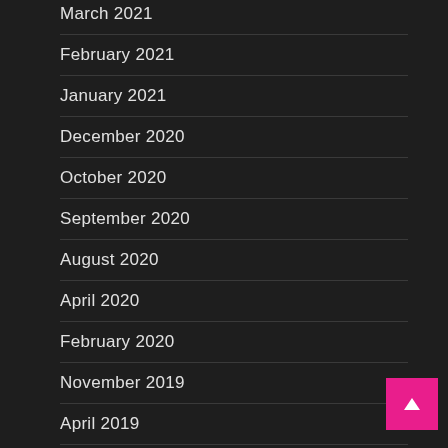March 2021
February 2021
January 2021
December 2020
October 2020
September 2020
August 2020
April 2020
February 2020
November 2019
April 2019